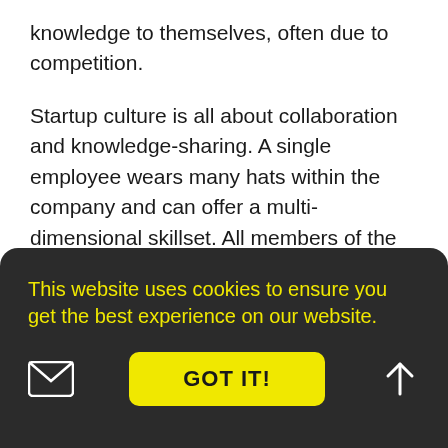knowledge to themselves, often due to competition.
Startup culture is all about collaboration and knowledge-sharing. A single employee wears many hats within the company and can offer a multi-dimensional skillset. All members of the team are united by the common goal they work towards.
When the startup wins, everyone wins. It's a family
This website uses cookies to ensure you get the best experience on our website.
GOT IT!